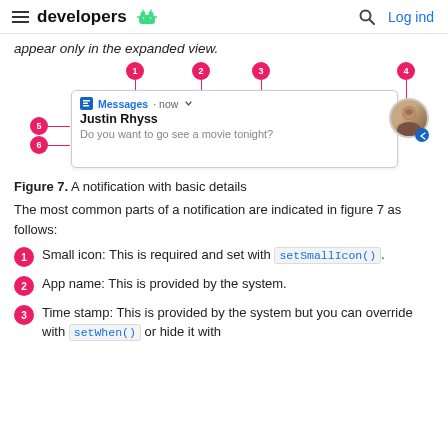developers  Log ind
appear only in the expanded view.
[Figure (infographic): A notification UI diagram showing numbered callouts (1-6) pointing to parts of an Android notification: small icon (1), app name (2), time stamp (3), large icon/avatar (4), sender name Justin Rhyss (5), message text 'Do you want to go see a movie tonight?' (6).]
Figure 7. A notification with basic details
The most common parts of a notification are indicated in figure 7 as follows:
Small icon: This is required and set with setSmallIcon().
App name: This is provided by the system.
Time stamp: This is provided by the system but you can override with setWhen() or hide it with